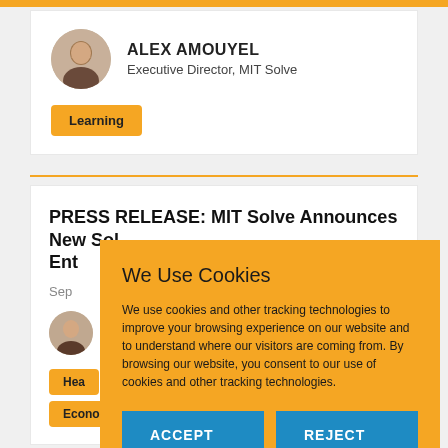[Figure (illustration): Circular profile photo of Alex Amouyel]
ALEX AMOUYEL
Executive Director, MIT Solve
Learning
PRESS RELEASE: MIT MIT Solve Announces New Solvers to Tackle Global Challenges, Empowering Entrepreneurs
Sep
[Figure (photo): Circular profile photo of a person]
Hea
Economic Prosperity
Press Releases
We Use Cookies
We use cookies and other tracking technologies to improve your browsing experience on our website and to understand where our visitors are coming from. By browsing our website, you consent to our use of cookies and other tracking technologies.
ACCEPT
REJECT